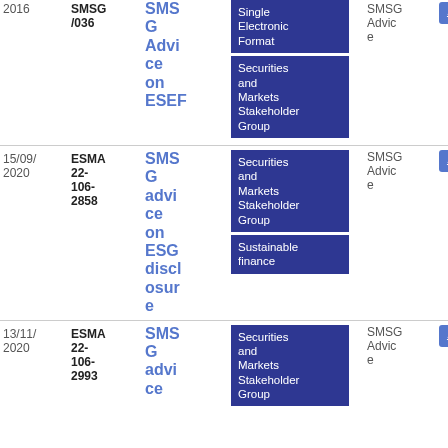| Date | Reference | Title | Tags | Type | File |
| --- | --- | --- | --- | --- | --- |
| 2016 | SMSG/036 | SMSG Advice on ESEF | Single Electronic Format | Securities and Markets Stakeholder Group | SMSG Advice | PDF 10 9.63 KB |
| 15/09/2020 | ESMA 22-106-2858 | SMSG advice on ESG disclosure | Securities and Markets Stakeholder Group | Sustainable finance | SMSG Advice | PDF 25 1.29 KB |
| 13/11/2020 | ESMA 22-106-2993 | SMSG advice on... | Securities and Markets Stakeholder Group | SMSG Advice | PDF 18 4.15 |